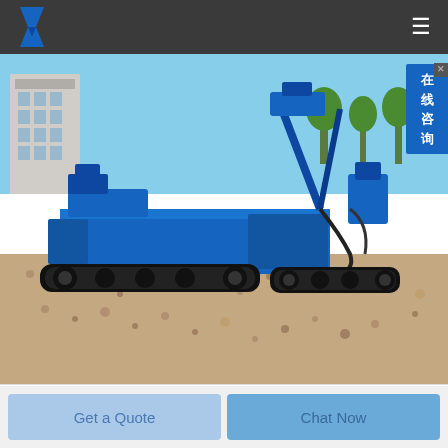Company logo and navigation header
[Figure (photo): Blue crawler-mounted drilling rig / anchor drilling machine photographed outdoors on a gravel and dirt surface, with white buildings visible in the background. The machine is predominantly blue with black crawler tracks and drill mast assembly.]
Get a Quote
Chat Now